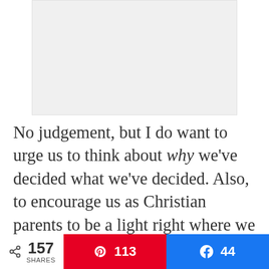[Figure (other): Light gray rectangular image placeholder area]
No judgement, but I do want to urge us to think about why we've decided what we've decided. Also, to encourage us as Christian parents to be a light right where we are.
Halloween has been known as a day for
< 157 SHARES  113  44